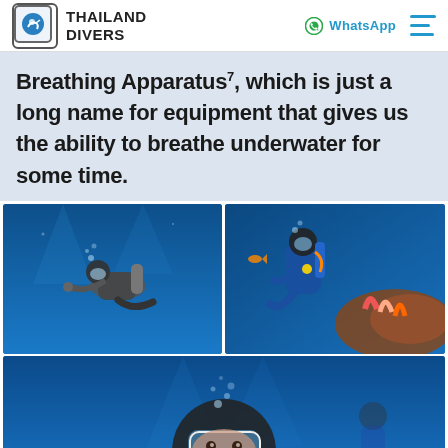Thailand Divers | WhatsApp
Breathing Apparatus, which is just a long name for equipment that gives us the ability to breathe underwater for some time.
[Figure (photo): Scuba diver underwater with diving gear in blue water]
[Figure (photo): Scuba diver near coral reef underwater]
[Figure (photo): Close-up of scuba diver underwater with mask and regulator, bubbles visible]